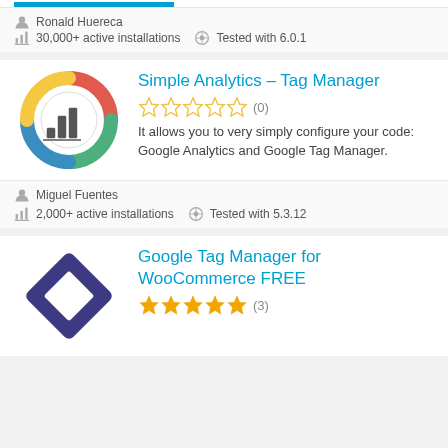[Figure (screenshot): Top blue progress/highlight bar]
Ronald Huereca
30,000+ active installations   Tested with 6.0.1
[Figure (logo): Simple Analytics Tag Manager plugin logo - colorful donut chart with bar chart inside]
Simple Analytics – Tag Manager
(0)
It allows you to very simply configure your code: Google Analytics and Google Tag Manager.
Miguel Fuentes
2,000+ active installations   Tested with 5.3.12
[Figure (logo): Google Tag Manager for WooCommerce FREE plugin logo - dark blue diamond/rhombus shape]
Google Tag Manager for WooCommerce FREE
(3)